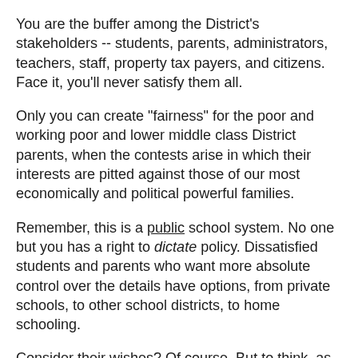You are the buffer among the District's stakeholders -- students, parents, administrators, teachers, staff, property tax payers, and citizens. Face it, you'll never satisfy them all.
Only you can create "fairness" for the poor and working poor and lower middle class District parents, when the contests arise in which their interests are pitted against those of our most economically and political powerful families.
Remember, this is a public school system. No one but you has a right to dictate policy. Dissatisfied students and parents who want more absolute control over the details have options, from private schools, to other school districts, to home schooling.
Consider their wishes? Of course. But to think, as one board member put it, that it is "absolutely critical that we don't ignore anyone's needs," is a classic example of the triumph of hope over experience. It will inevitably produce the K-12 equivalent of the line that "a camel is a horse built by committee."